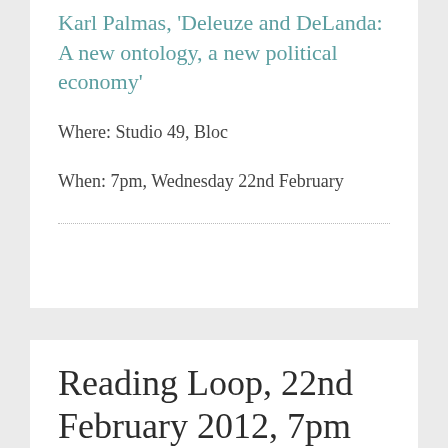Karl Palmas, 'Deleuze and DeLanda: A new ontology, a new political economy'
Where: Studio 49, Bloc
When: 7pm, Wednesday 22nd February
Reading Loop, 22nd February 2012, 7pm
© FEBRUARY 16, 2012